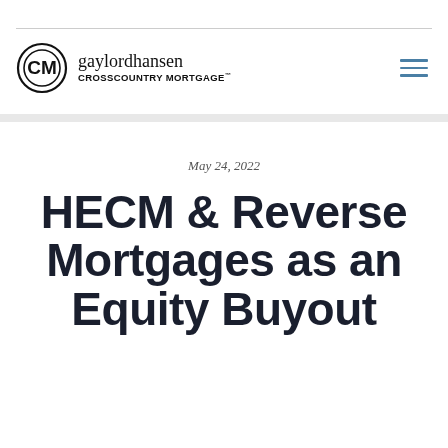gaylordhansen CROSSCOUNTRY MORTGAGE™
May 24, 2022
HECM & Reverse Mortgages as an Equity Buyout